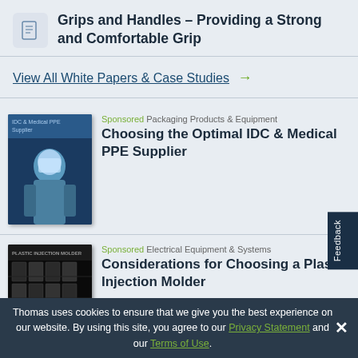Grips and Handles – Providing a Strong and Comfortable Grip
View All White Papers & Case Studies →
[Figure (photo): Book cover of IDC & Medical PPE Supplier guide showing a person in medical PPE]
Sponsored Packaging Products & Equipment
Choosing the Optimal IDC & Medical PPE Supplier
[Figure (photo): Book cover of Plastic Injection Molder guide showing industrial injection mold machinery]
Sponsored Electrical Equipment & Systems
Considerations for Choosing a Plastic Injection Molder
Thomas uses cookies to ensure that we give you the best experience on our website. By using this site, you agree to our Privacy Statement and our Terms of Use.